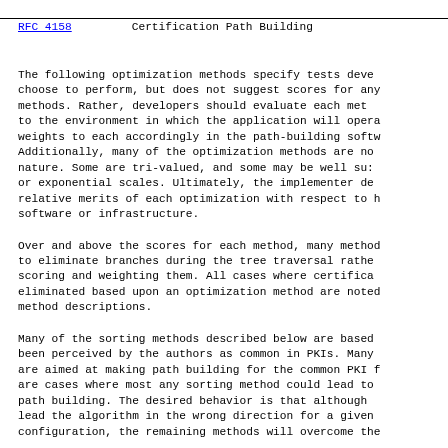RFC 4158    Certification Path Building
The following optimization methods specify tests developers may choose to perform, but does not suggest scores for any of the methods. Rather, developers should evaluate each method relative to the environment in which the application will operate and assign weights to each accordingly in the path-building software. Additionally, many of the optimization methods are not binary in nature. Some are tri-valued, and some may be well suited to linear or exponential scales. Ultimately, the implementer determines the relative merits of each optimization with respect to his/her own software or infrastructure.
Over and above the scores for each method, many methods can be used to eliminate branches during the tree traversal rather than merely scoring and weighting them. All cases where certificates can be eliminated based upon an optimization method are noted in the method descriptions.
Many of the sorting methods described below are based on what has been perceived by the authors as common in PKIs. Many of the methods are aimed at making path building for the common PKI faster. There are cases where most any sorting method could lead to less efficient path building. The desired behavior is that although one method may lead the algorithm in the wrong direction for a given PKI configuration, the remaining methods will overcome the negative effect.